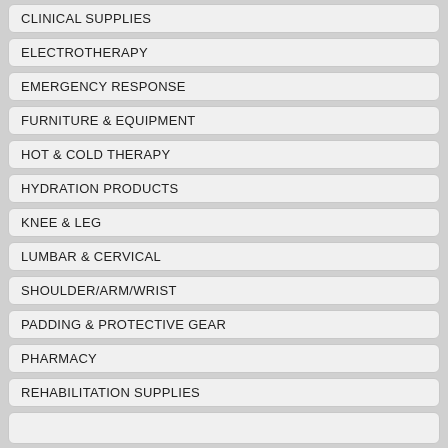CLINICAL SUPPLIES
ELECTROTHERAPY
EMERGENCY RESPONSE
FURNITURE & EQUIPMENT
HOT & COLD THERAPY
HYDRATION PRODUCTS
KNEE & LEG
LUMBAR & CERVICAL
SHOULDER/ARM/WRIST
PADDING & PROTECTIVE GEAR
PHARMACY
REHABILITATION SUPPLIES